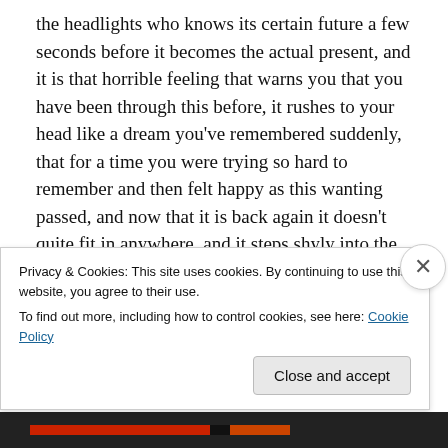the headlights who knows its certain future a few seconds before it becomes the actual present, and it is that horrible feeling that warns you that you have been through this before, it rushes to your head like a dream you've remembered suddenly, that for a time you were trying so hard to remember and then felt happy as this wanting passed, and now that it is back again it doesn't quite fit in anywhere, and it steps shyly into the perimeters of thought. A past army of myself begins to surround me; protectors and hunters with fierce sounding attributes, that are now spending their time learning how to take care of
Privacy & Cookies: This site uses cookies. By continuing to use this website, you agree to their use.
To find out more, including how to control cookies, see here: Cookie Policy
Close and accept